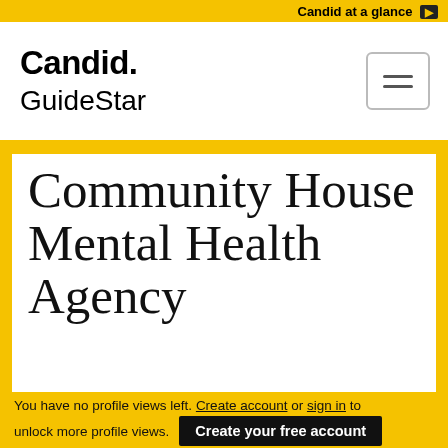Candid at a glance
[Figure (logo): Candid. GuideStar logo with hamburger menu icon]
Community House Mental Health Agency
You have no profile views left. Create account or sign in to unlock more profile views. Create your free account